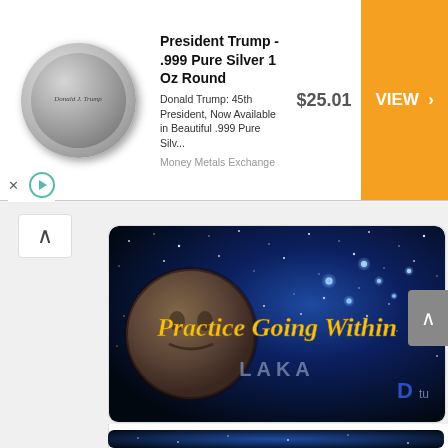[Figure (screenshot): Advertisement banner for President Trump .999 Pure Silver 1 Oz Round coin, showing coin image, product description, price $25.01, and orange VIEW button from Money Metals Exchange]
[Figure (screenshot): Video thumbnail with starfield/galaxy background showing 'Practice Going Within' text in gold italic script, a face on a moon/planet, 'LAKA' text, and a D logo]
Practice Going Within - Laka - Pleiadian Collective
[Figure (screenshot): Partial bottom thumbnail showing starfield background, beginning of another video]